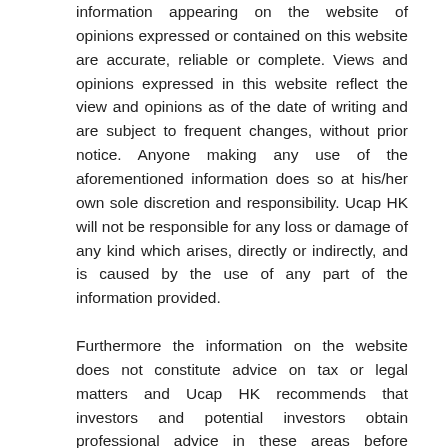information appearing on the website of opinions expressed or contained on this website are accurate, reliable or complete. Views and opinions expressed in this website reflect the view and opinions as of the date of writing and are subject to frequent changes, without prior notice. Anyone making any use of the aforementioned information does so at his/her own sole discretion and responsibility. Ucap HK will not be responsible for any loss or damage of any kind which arises, directly or indirectly, and is caused by the use of any part of the information provided.
Furthermore the information on the website does not constitute advice on tax or legal matters and Ucap HK recommends that investors and potential investors obtain professional advice in these areas before making investment decisions.